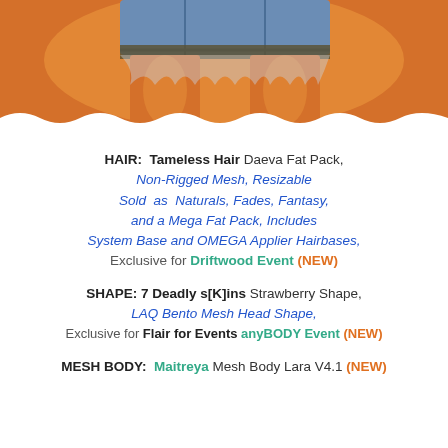[Figure (photo): Top portion of image showing a 3D avatar character with orange/tan skin tones and denim shorts, cropped at torso level with wavy bottom edge]
HAIR: Tameless Hair Daeva Fat Pack, Non-Rigged Mesh, Resizable Sold as Naturals, Fades, Fantasy, and a Mega Fat Pack, Includes System Base and OMEGA Applier Hairbases, Exclusive for Driftwood Event (NEW)
SHAPE: 7 Deadly s[K]ins Strawberry Shape, LAQ Bento Mesh Head Shape, Exclusive for Flair for Events anyBODY Event (NEW)
MESH BODY: Maitreya Mesh Body Lara V4.1 (NEW)